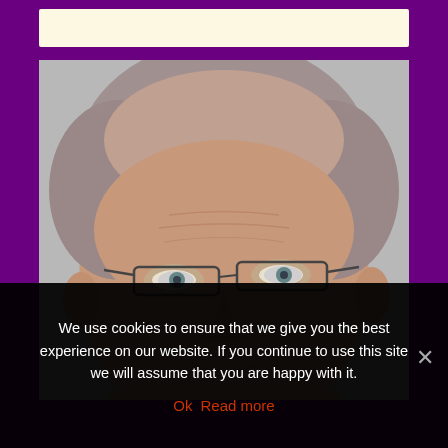[Figure (photo): Cream/beige horizontal banner bar at top, part of a website layout with purple background]
[Figure (photo): Close-up portrait photo of an older man with short gray hair and rectangular glasses, against a gray background. The photo is framed within a purple website layout.]
We use cookies to ensure that we give you the best experience on our website. If you continue to use this site we will assume that you are happy with it.
Ok  Read more